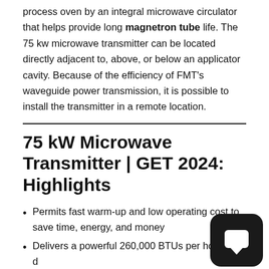process oven by an integral microwave circulator that helps provide long magnetron tube life. The 75 kw microwave transmitter can be located directly adjacent to, above, or below an applicator cavity. Because of the efficiency of FMT's waveguide power transmission, it is possible to install the transmitter in a remote location.
75 kW Microwave Transmitter | GET 2024: Highlights
Permits fast warm-up and low operating cost to save time, energy, and money
Delivers a powerful 260,000 BTUs per hour to defrost, temper meat, fish, poultry, fruit, or bakery items...